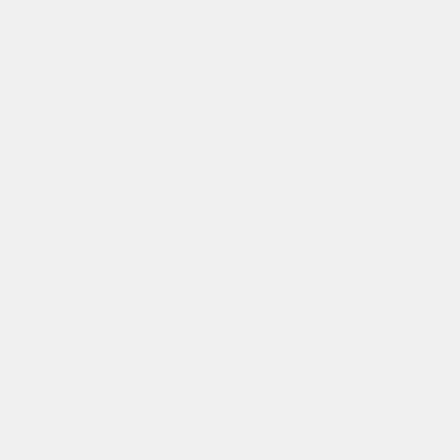FREE Homeschool Summit - Lifeskills Leadership All Access Pass
[Figure (illustration): Orange banner with Learn More! button and a Link UP! badge image with green circle on blue background with pink text]
<a rel="nofollow" href="https://www title="parents as teachers"> <img
*By linking up, you are granting me permission to use and/or re-post photographs from your blog or website.
Linking up Here
An InLinkz Link-up